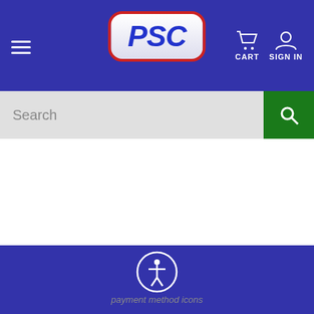[Figure (logo): PSC logo with red rounded border on blue navigation header, with hamburger menu, cart icon, and sign in icon]
Search
Video Library
Account
Account
Cart
Checkout
Order History
[Figure (illustration): Accessibility icon (person in circle) and payment method icons at bottom]
payment method icons